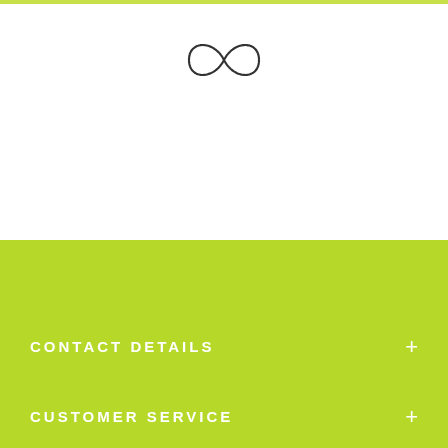[Figure (logo): Infinity symbol / script logo mark in dark ink]
CONTACT DETAILS
CUSTOMER SERVICE
Quick links
[Figure (infographic): Add to cart bar with quantity selector showing minus, 1, plus buttons and black ADD TO CART button]
[Figure (infographic): Bottom navigation bar with grid/home icon, shopping cart icon with badge 0, user/account icon, and search icon]